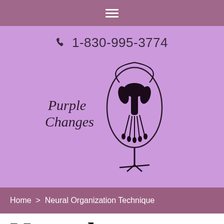≡ (hamburger menu icon)
📞 1-830-995-3774
[Figure (logo): Purple Changes logo: cursive text 'Purple Changes' on the left with a stylized fuchsia flower illustration on the right, rendered in black ink on light purple background]
Home > Neural Organization Technique
Neural